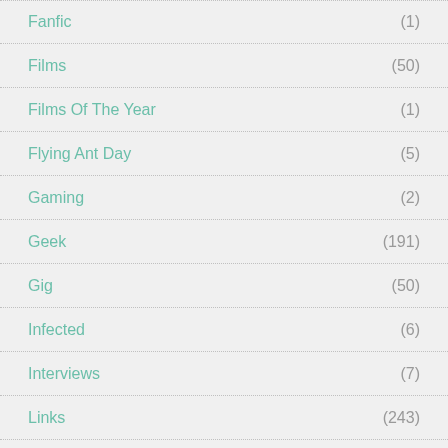Fanfic (1)
Films (50)
Films Of The Year (1)
Flying Ant Day (5)
Gaming (2)
Geek (191)
Gig (50)
Infected (6)
Interviews (7)
Links (243)